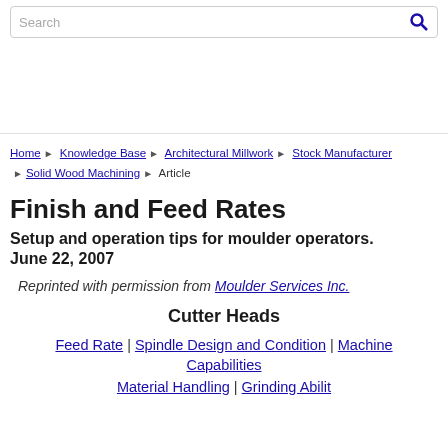Search
Reprinted with permission from Moulder Services Inc.
Finish and Feed Rates
Setup and operation tips for moulder operators. June 22, 2007
Cutter Heads
Feed Rate | Spindle Design and Condition | Machine Capabilities
Material Handling | Grinding Ability